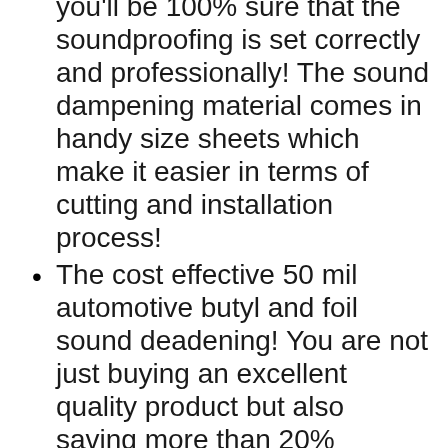you'll be 100% sure that the soundproofing is set correctly and professionally! The sound dampening material comes in handy size sheets which make it easier in terms of cutting and installation process!
The cost effective 50 mil automotive butyl and foil sound deadening! You are not just buying an excellent quality product but also saving more than 20% comparing to competitors as well!
Automotive self-adhesive insulation consists of butyl. KILMAT sound deadening has a total weight of 0.35 lbs/1sqft. This weight ensures optimum efficiency and sound